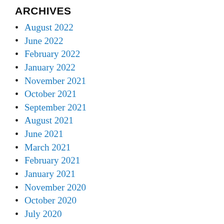ARCHIVES
August 2022
June 2022
February 2022
January 2022
November 2021
October 2021
September 2021
August 2021
June 2021
March 2021
February 2021
January 2021
November 2020
October 2020
July 2020